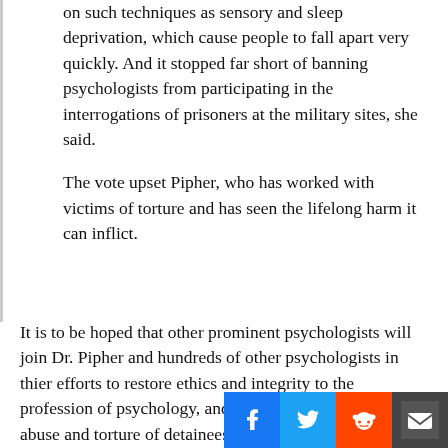on such techniques as sensory and sleep deprivation, which cause people to fall apart very quickly. And it stopped far short of banning psychologists from participating in the interrogations of prisoners at the military sites, she said.
The vote upset Pipher, who has worked with victims of torture and has seen the lifelong harm it can inflict.
It is to be hoped that other prominent psychologists will join Dr. Pipher and hundreds of other psychologists in thier efforts to restore ethics and integrity to the profession of psychology, and to end the US regime of abuse and torture of detainees.
STEPHEN SOLDZ is psychoanalyst, psychologist, public health researcher, and faculty memb[...] t B[...]